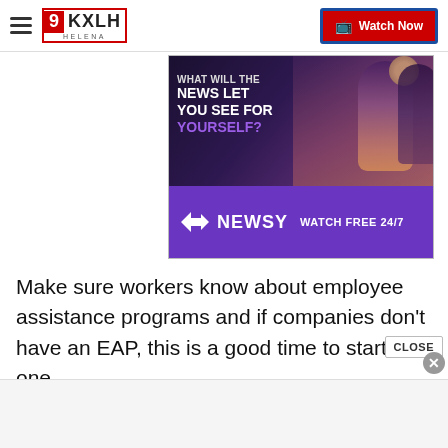KXLH Helena | Watch Now
[Figure (screenshot): Newsy advertisement banner showing 'WHAT WILL THE NEWS LET YOU SEE FOR YOURSELF?' with sports photography background and Newsy logo with 'WATCH FREE 24/7' tagline]
Make sure workers know about employee assistance programs and if companies don't have an EAP, this is a good time to start one.